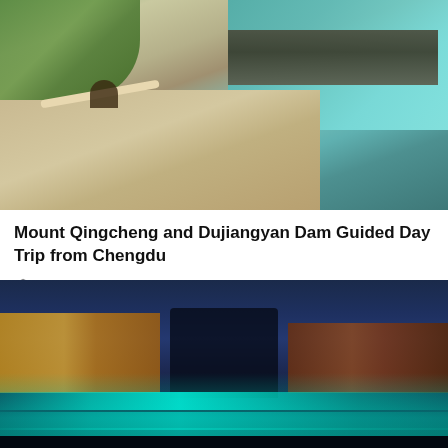[Figure (photo): Aerial view of Dujiangyan Dam and surrounding landscape with turquoise water, sandy banks, green trees, and a traditional pavilion]
Mount Qingcheng and Dujiangyan Dam Guided Day Trip from Chengdu
Taking safety measures
from US$234.12
Book Now
[Figure (photo): Night scene of illuminated canal and traditional Chinese buildings with cyan/teal glowing water reflections]